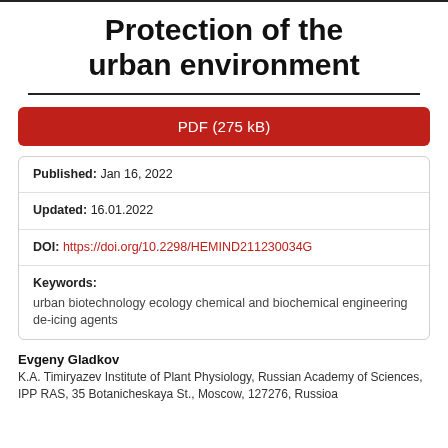Protection of the urban environment
PDF (275 kB)
| Published: | Jan 16, 2022 |
| Updated: | 16.01.2022 |
| DOI: | https://doi.org/10.2298/HEMIND211230034G |
| Keywords: | urban biotechnology ecology chemical and biochemical engineering de-icing agents |
Evgeny Gladkov
K.A. Timiryazev Institute of Plant Physiology, Russian Academy of Sciences, IPP RAS, 35 Botanicheskaya St., Moscow, 127276, Russioa